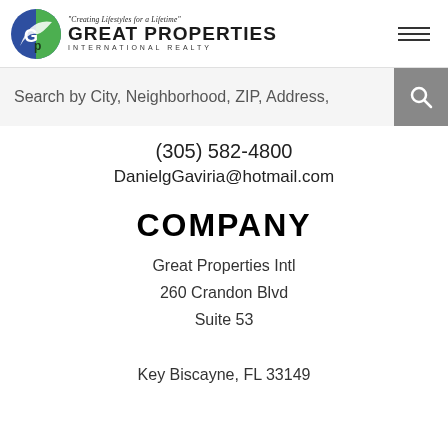[Figure (logo): Great Properties International Realty logo with green/blue globe icon and tagline 'Creating Lifestyles for a Lifetime']
Search by City, Neighborhood, ZIP, Address,
(305) 582-4800
DanielgGaviria@hotmail.com
COMPANY
Great Properties Intl
260 Crandon Blvd
Suite 53
Key Biscayne, FL 33149